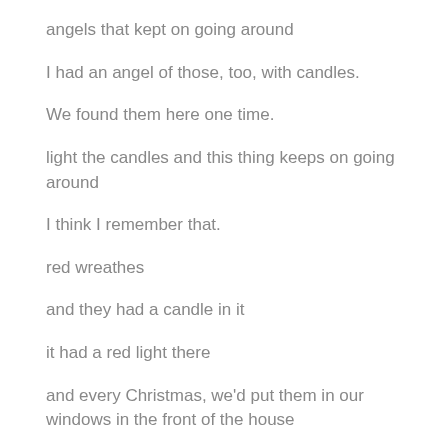angels that kept on going around
I had an angel of those, too, with candles.
We found them here one time.
light the candles and this thing keeps on going around
I think I remember that.
red wreathes
and they had a candle in it
it had a red light there
and every Christmas, we'd put them in our windows in the front of the house
You two had similar, like, traditions.
my mother always baked tons of pies and tons of